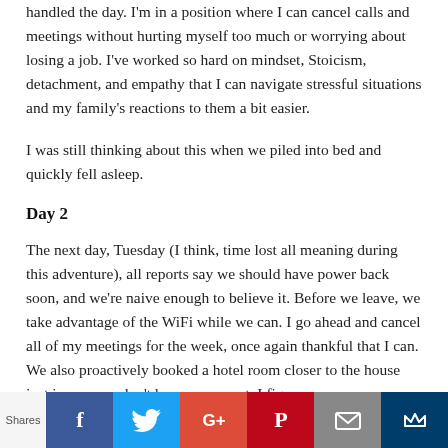handled the day. I'm in a position where I can cancel calls and meetings without hurting myself too much or worrying about losing a job. I've worked so hard on mindset, Stoicism, detachment, and empathy that I can navigate stressful situations and my family's reactions to them a bit easier.
I was still thinking about this when we piled into bed and quickly fell asleep.
Day 2
The next day, Tuesday (I think, time lost all meaning during this adventure), all reports say we should have power back soon, and we're naive enough to believe it. Before we leave, we take advantage of the WiFi while we can. I go ahead and cancel all of my meetings for the week, once again thankful that I can. We also proactively booked a hotel room closer to the house just in case we don't have power yet. I figure we
Shares | Facebook | Twitter | Google+ | Pinterest | Email | MeWe